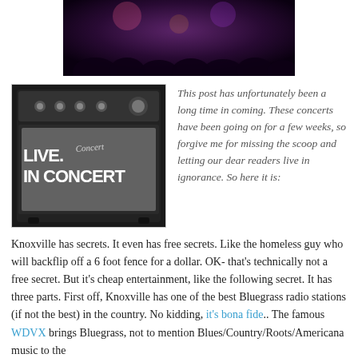[Figure (photo): Dark photo of a concert audience crowd in a venue with purple/pink stage lighting]
[Figure (photo): Guitar amplifier with text 'LIVE. IN CONCERT' overlaid in white bold font]
This post has unfortunately been a long time in coming. These concerts have been going on for a few weeks, so forgive me for missing the scoop and letting our dear readers live in ignorance. So here it is:
Knoxville has secrets. It even has free secrets. Like the homeless guy who will backflip off a 6 foot fence for a dollar. OK- that's technically not a free secret. But it's cheap entertainment, like the following secret. It has three parts. First off, Knoxville has one of the best Bluegrass radio stations (if not the best) in the country. No kidding, it's bona fide.. The famous WDVX brings Bluegrass, not to mention Blues/Country/Roots/Americana music to the